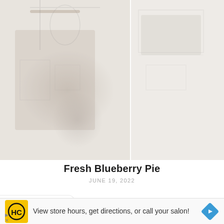[Figure (photo): Faded/washed-out kitchen or home interior scene split into two panels side by side. Left panel shows blurry kitchen items with a plant/flowers in the lower center. Right panel shows blurry furniture or shelving. Both panels are very light and desaturated.]
Fresh Blueberry Pie
JUNE 19, 2022
[Figure (screenshot): Advertisement banner: HC logo (yellow square with black HC text), text 'View store hours, get directions, or call your salon!', and a blue diamond-shaped navigation icon on the right.]